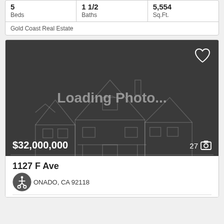| Beds | Baths | Sq.Ft. |
| --- | --- | --- |
| 5 | 1 1/2 | 5,554 |
Gold Coast Real Estate
[Figure (photo): Loading Photo... placeholder image of a house outline on dark gray background with $32,000,000 price and 27 photos indicator]
1127 F Ave
CORONADO, CA 92118